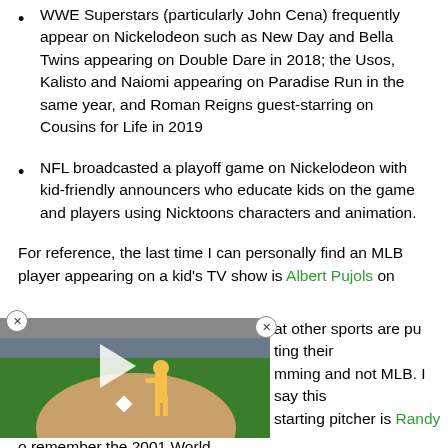WWE Superstars (particularly John Cena) frequently appear on Nickelodeon such as New Day and Bella Twins appearing on Double Dare in 2018; the Usos, Kalisto and Naiomi appearing on Paradise Run in the same year, and Roman Reigns guest-starring on Cousins for Life in 2019
NFL broadcasted a playoff game on Nickelodeon with kid-friendly announcers who educate kids on the game and players using Nicktoons characters and animation.
For reference, the last time I can personally find an MLB player appearing on a kid's TV show is Albert Pujols on [partially obscured]
[Figure (screenshot): Video player screenshot showing a baseball game, with play button overlay, dark video bar at bottom, and close buttons.]
at other sports are putting their programming and not MLB. I say this starting pitcher is Randy [partially obscured] remember the 2001 World [cut off]